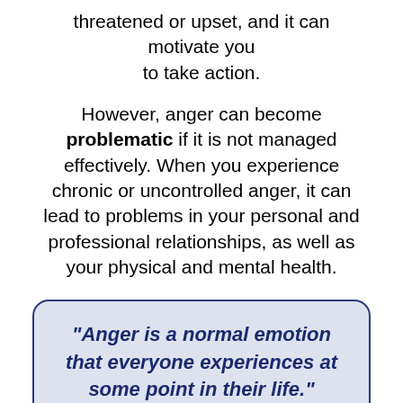threatened or upset, and it can motivate you to take action.
However, anger can become problematic if it is not managed effectively. When you experience chronic or uncontrolled anger, it can lead to problems in your personal and professional relationships, as well as your physical and mental health.
"Anger is a normal emotion that everyone experiences at some point in their life."
Angry outbursts can damage relationships,